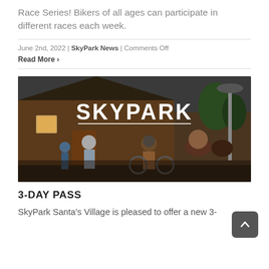Race Series! Bikers of all ages can participate in different races each week.
June 2nd, 2022 | SkyPark News | Comments Off
Read More >
[Figure (photo): SkyPark promotional banner showing a family with bikes in front of a log cabin, with bold white SKYPARK text overlay]
3-DAY PASS
SkyPark Santa's Village is pleased to offer a new 3-